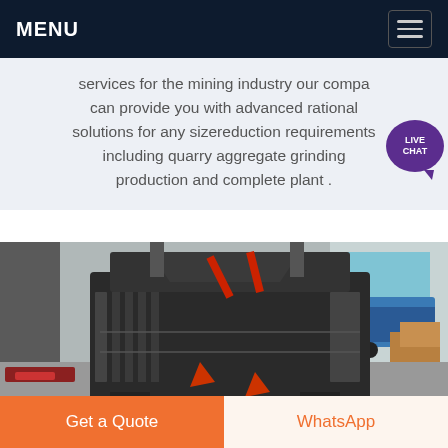MENU
services for the mining industry our company can provide you with advanced rational solutions for any sizereduction requirements including quarry aggregate grinding production and complete plant .
[Figure (photo): Industrial hammer mill or impact crusher machine photographed in a factory/warehouse setting. The machine is large, black/dark grey metallic, with red accent components. Background shows a warehouse interior with blue vehicle visible.]
Get a Quote
WhatsApp